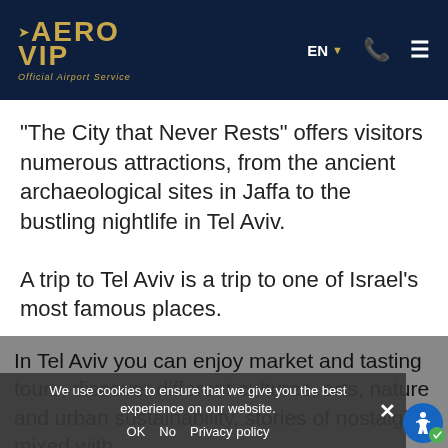[Figure (logo): AERO VIP Official Airport Service logo with gold text on dark navy background, with phone icon, EN language selector, and hamburger menu]
“The City that Never Rests” offers visitors numerous attractions, from the ancient archaeological sites in Jaffa to the bustling nightlife in Tel Aviv.
A trip to Tel Aviv is a trip to one of Israel’s most famous places.
In Tel Aviv you can enjoy market and tasting tours, discover different cultures, arts, nature and urban sustainability, stories of nostalgia mixed with
We use cookies to ensure that we give you the best experience on our website.
OK   No   Privacy policy